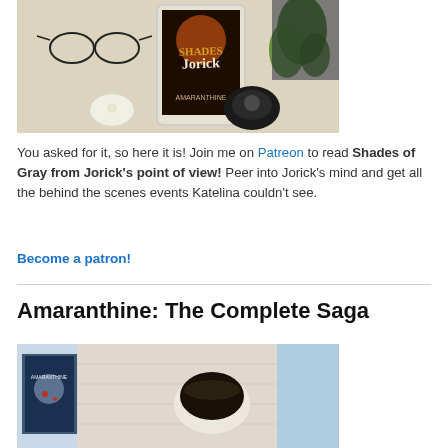[Figure (photo): Photo of a tablet displaying the book cover 'Shades of Jorick' by Amaranthine, surrounded by glasses, a knit blanket, candles, and a green plant]
You asked for it, so here it is! Join me on Patreon to read Shades of Gray from Jorick's point of view! Peer into Jorick's mind and get all the behind the scenes events Katelina couldn't see.
Become a patron!
Amaranthine: The Complete Saga
[Figure (photo): Photo of books including an Amaranthine series book, a cup of dark liquid, and a knit blanket on a light blue background]